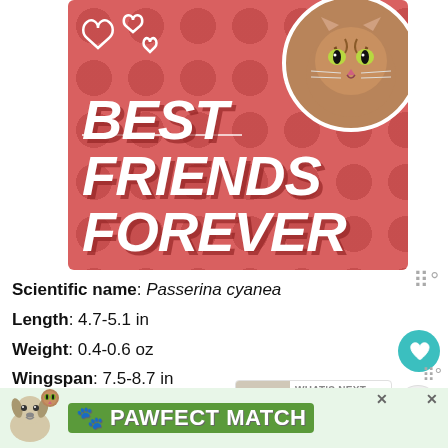[Figure (illustration): Pink/red banner with 'BEST FRIENDS FOREVER' text in bold italic white, hearts, and a cat photo in a circle, pet adoption themed graphic]
Scientific name: Passerina cyanea
Length: 4.7-5.1 in
Weight: 0.4-0.6 oz
Wingspan: 7.5-8.7 in
These beautiful buntings migrate at night,
[Figure (infographic): 'WHAT'S NEXT' widget showing Backyard Birds In... with a bird illustration]
[Figure (illustration): PAWFECT MATCH advertisement banner with dog and cat images]